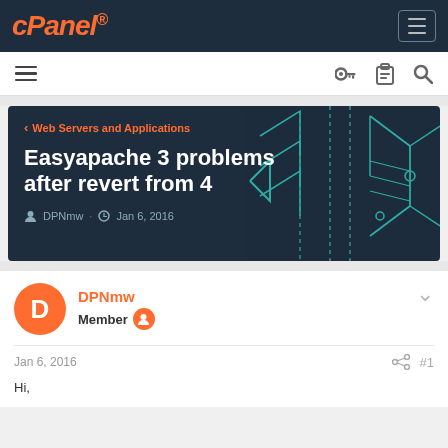cPanel
[Figure (screenshot): cPanel forum page showing 'Easyapache 3 problems after revert from 4' thread with hero banner, author info, and first post dated Jan 6, 2016]
Web Servers and Applications
Easyapache 3 problems after revert from 4
DPNmw · Jan 6, 2016
DPNmw
Member
Jan 6, 2016 #1
Hi,